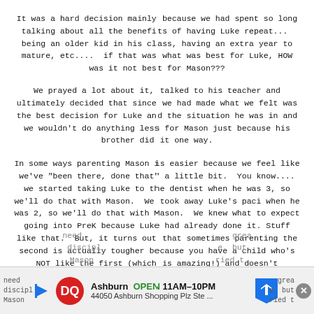It was a hard decision mainly because we had spent so long talking about all the benefits of having Luke repeat...  being an older kid in his class, having an extra year to mature, etc....  if that was what was best for Luke, HOW was it not best for Mason???
We prayed a lot about it, talked to his teacher and ultimately decided that since we had made what we felt was the best decision for Luke and the situation he was in and we wouldn't do anything less for Mason just because his brother did it one way.
In some ways parenting Mason is easier because we feel like we've "been there, done that" a little bit.  You know.... we started taking Luke to the dentist when he was 3, so we'll do that with Mason.  We took away Luke's paci when he was 2, so we'll do that with Mason.  We knew what to expect going into PreK because Luke had already done it. Stuff like that.  But, it turns out that sometimes parenting the second is actually tougher because you have a child who's NOT like the first (which is amazing!) and doesn't
need    grea
discipl    e, but
Mason    ried t
[Figure (infographic): Advertisement bar for Dairy Queen (DQ) showing logo, 'Ashburn OPEN 11AM-10PM', '44050 Ashburn Shopping Plz Ste ...', navigation arrow icon, and close (X) button.]